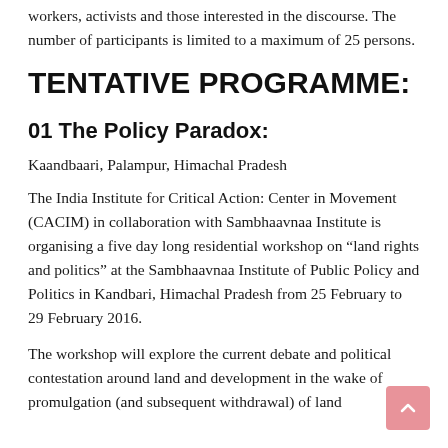workers, activists and those interested in the discourse. The number of participants is limited to a maximum of 25 persons.
TENTATIVE PROGRAMME:
01 The Policy Paradox:
Kaandbaari, Palampur, Himachal Pradesh
The India Institute for Critical Action: Center in Movement (CACIM) in collaboration with Sambhaavnaa Institute is organising a five day long residential workshop on “land rights and politics” at the Sambhaavnaa Institute of Public Policy and Politics in Kandbari, Himachal Pradesh from 25 February to 29 February 2016.
The workshop will explore the current debate and political contestation around land and development in the wake of promulgation (and subsequent withdrawal) of land